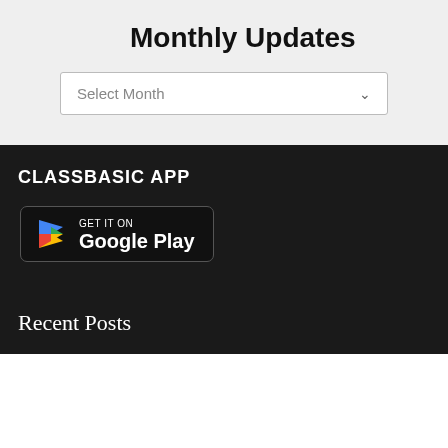Monthly Updates
Select Month
CLASSBASIC APP
[Figure (logo): Google Play Store badge with colorful play triangle icon, text GET IT ON Google Play on black background with rounded border]
Recent Posts